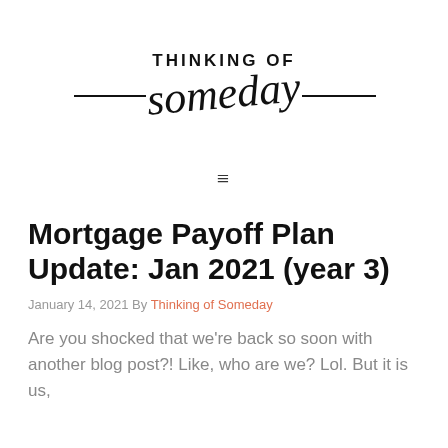[Figure (logo): Thinking of Someday blog logo with hand-written script 'someday' and printed 'THINKING OF' text, with decorative horizontal lines on each side]
≡
Mortgage Payoff Plan Update: Jan 2021 (year 3)
January 14, 2021 By Thinking of Someday
Are you shocked that we're back so soon with another blog post?! Like, who are we? Lol. But it is us,